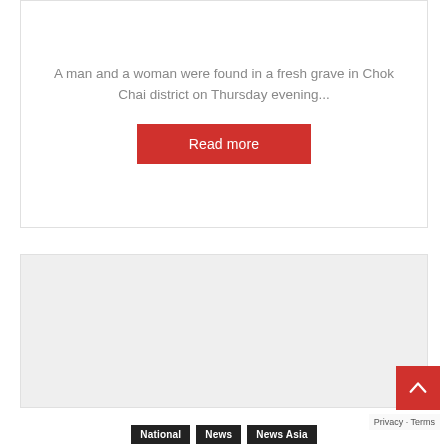A man and a woman were found in a fresh grave in Chok Chai district on Thursday evening...
Read more
[Figure (other): Gray placeholder advertisement block]
National  News  News Asia